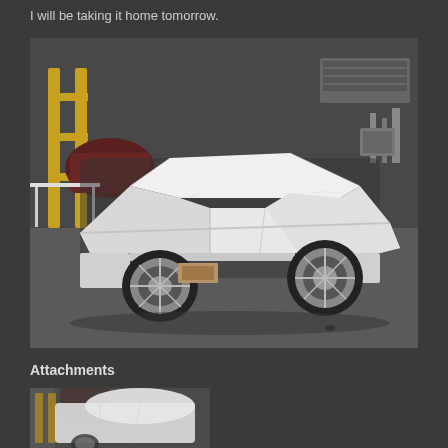I will be taking it home tomorrow.
[Figure (photo): A classic car wrapped in white protective plastic/covering, sitting in a garage/auto body shop. The car has chrome wheels visible underneath the cover. The garage background shows tools, equipment, and other car parts.]
Attachments
[Figure (photo): A thumbnail/partial view of the same car wrapped in white protective covering, taken from a slightly different angle showing the front/side of the vehicle in the garage setting.]